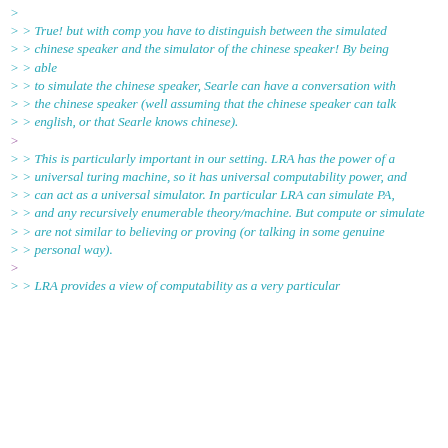> >> True! but with comp you have to distinguish between the simulated
>> chinese speaker and the simulator of the chinese speaker! By being
>>> able
>>> to simulate the chinese speaker, Searle can have a conversation with
>>> the chinese speaker (well assuming that the chinese speaker can talk
>>> english, or that Searle knows chinese).
>
>>> This is particularly important in our setting. LRA has the power of a
>>> universal turing machine, so it has universal computability power, and
>>> can act as a universal simulator. In particular LRA can simulate PA,
>>> and any recursively enumerable theory/machine. But compute or simulate
>>> are not similar to believing or proving (or talking in some genuine
>>> personal way).
>
>>> LRA provides a view of computability as a very particular